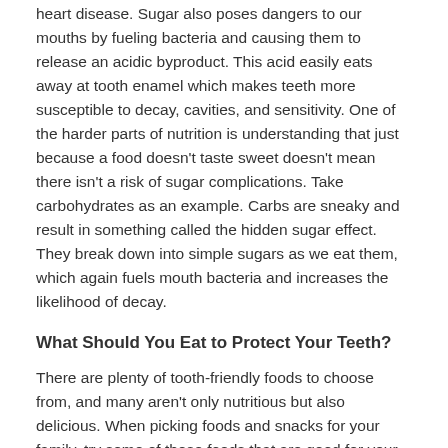heart disease. Sugar also poses dangers to our mouths by fueling bacteria and causing them to release an acidic byproduct. This acid easily eats away at tooth enamel which makes teeth more susceptible to decay, cavities, and sensitivity. One of the harder parts of nutrition is understanding that just because a food doesn't taste sweet doesn't mean there isn't a risk of sugar complications. Take carbohydrates as an example. Carbs are sneaky and result in something called the hidden sugar effect. They break down into simple sugars as we eat them, which again fuels mouth bacteria and increases the likelihood of decay.
What Should You Eat to Protect Your Teeth?
There are plenty of tooth-friendly foods to choose from, and many aren't only nutritious but also delicious. When picking foods and snacks for your family, try some of these foods that are good for your oral health: